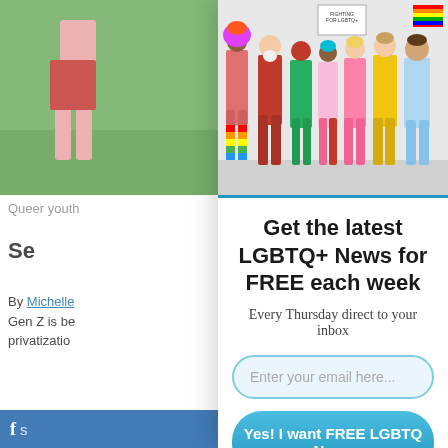[Figure (photo): Queer youth person on grass, partially visible on left side of screen]
Queer youth
Se
By Michelle
Gen Z is be
privatizatio
[Figure (photo): Group of diverse LGBTQ+ pride activists holding flags and signs including rainbow flags and 'Fighting for Equality' signs, wearing colorful clothes]
Get the latest LGBTQ+ News for FREE each week
Every Thursday direct to your inbox
Enter your email here...
Yes! I want FREE LGBTQ News